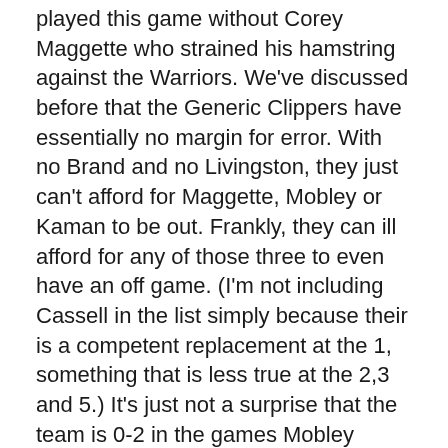played this game without Corey Maggette who strained his hamstring against the Warriors.  We've discussed before that the Generic Clippers have essentially no margin for error.  With no Brand and no Livingston, they just can't afford for Maggette, Mobley or Kaman to be out.  Frankly, they can ill afford for any of those three to even have an off game.  (I'm not including Cassell in the list simply because their is a competent replacement at the 1, something that is less true at the 2,3 and 5.)  It's just not a surprise that the team is 0-2 in the games Mobley missed, 0-1 without Maggette.  The bigger surprise is probably that they actually did manage a win (a road win no less) in the game where Mobley was injured and played only 5 minutes.
At any rate, we saw tonight just how limited this team is offensively.  Without Maggette, they are reduced to